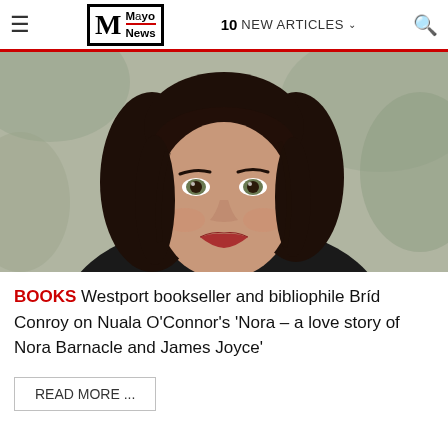≡  Mayo News  10 NEW ARTICLES ∨  🔍
[Figure (photo): Portrait photograph of a woman with dark wavy hair, wearing a dark top and gold earrings, smiling at camera against a blurred outdoor background]
BOOKS Westport bookseller and bibliophile Bríd Conroy on Nuala O'Connor's 'Nora – a love story of Nora Barnacle and James Joyce'
READ MORE ...